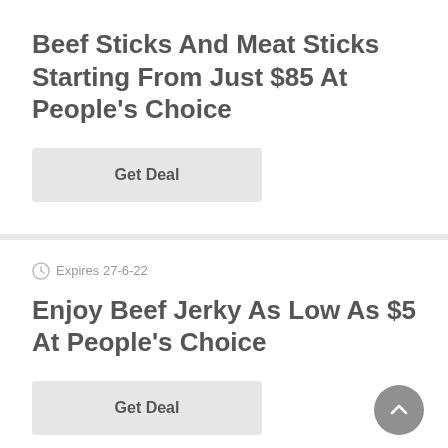Beef Sticks And Meat Sticks Starting From Just $85 At People's Choice
Get Deal
Expires 27-6-22
Enjoy Beef Jerky As Low As $5 At People's Choice
Get Deal